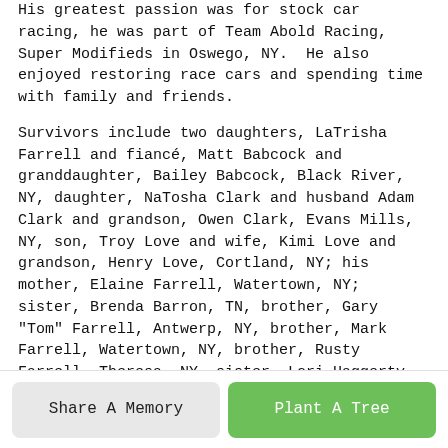His greatest passion was for stock car racing, he was part of Team Abold Racing, Super Modifieds in Oswego, NY. He also enjoyed restoring race cars and spending time with family and friends.
Survivors include two daughters, LaTrisha Farrell and fiancé, Matt Babcock and granddaughter, Bailey Babcock, Black River, NY, daughter, NaTosha Clark and husband Adam Clark and grandson, Owen Clark, Evans Mills, NY, son, Troy Love and wife, Kimi Love and grandson, Henry Love, Cortland, NY; his mother, Elaine Farrell, Watertown, NY; sister, Brenda Barron, TN, brother, Gary "Tom" Farrell, Antwerp, NY, brother, Mark Farrell, Watertown, NY, brother, Rusty Farrell, Theresa, NY, sister, Lori Haggerty, Evans Mills, NY, brother, John Farrell, CA; an aunt, Joan Ostrander and husband Jon, Theresa, NY; numerous nieces, nephews, cousins and friends.
His father passed away in 2015 and his sister, Barbara Paige in February of this year.
Calling hours will be 5-7 pm, Thursday, May 27,2021 at Frederick Bros. Funeral Home, Theresa, NY. Private burial will be in Oakwood Cemetery, Theresa, NY, with Rev. Donald Briant, officiating.
Arrangements are with Frederick Bros. Funeral Home, Theresa, NY.